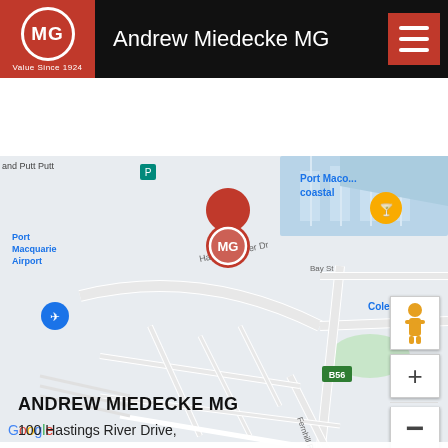Andrew Miedecke MG
[Figure (map): Google Maps screenshot showing the location of Andrew Miedecke MG dealership at 100 Hastings River Drive, Port Macquarie. A red MG logo pin marks the dealership location. Nearby landmarks include Port Macquarie Airport (blue plane icon), and an orange restaurant/bar pin. Street labels include Hastings River Dr, Bay St, Clifton Dr, Fernhill Rd. Road signs B56 visible. Google Maps controls (zoom in/out, Street View person icon) visible on right side.]
ANDREW MIEDECKE MG
100 Hastings River Drive,